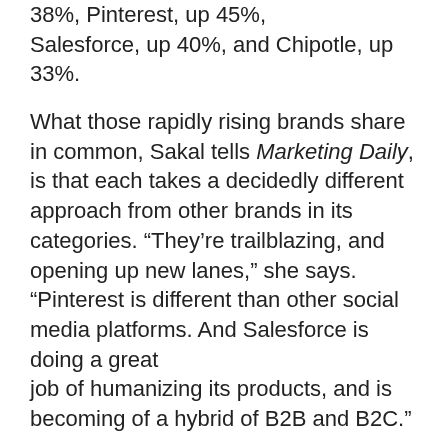38%, Pinterest, up 45%, Salesforce, up 40%, and Chipotle, up 33%.
What those rapidly rising brands share in common, Sakal tells Marketing Daily, is that each takes a decidedly different approach from other brands in its categories. “They’re trailblazing, and opening up new lanes,” she says. “Pinterest is different than other social media platforms. And Salesforce is doing a great job of humanizing its products, and is becoming of a hybrid of B2B and B2C.”
Uber, FedEx, Pampers, UPS and Amazon came in tops in providing the best experience.
In order to be included, brands must have been originally created in the U.S., and be publicly listed or